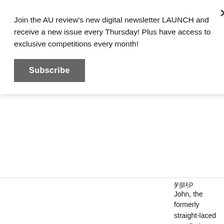Join the AU review's new digital newsletter LAUNCH and receive a new issue every Thursday! Plus have access to exclusive competitions every month!
Subscribe
John, the formerly straight-laced cop, finds himself in deep with his siblings, played by Linda Cardellini and Norbert Leo Butz. Sissy Spacek also returns as the matriarch […]
READ MORE
[Figure (photo): Dark concert/event photo with 'THE AU REVIEW .COM' logo overlaid]
5 shows you should watch on Netflix
April 9, 2015